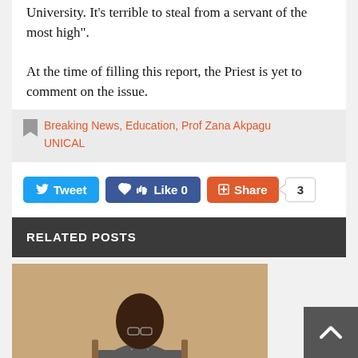University. It's terrible to steal from a servant of the most high".
At the time of filling this report, the Priest is yet to comment on the issue.
Breaking News, Education, Prof Zana Akpagu UNICAL
[Figure (infographic): Social sharing buttons: Tweet (blue), Like 0 (dark blue Facebook), Share (orange/red), count badge showing 3]
RELATED POSTS
[Figure (photo): Photo of a man in a suit/blazer sitting, appears to be an academic or official figure]